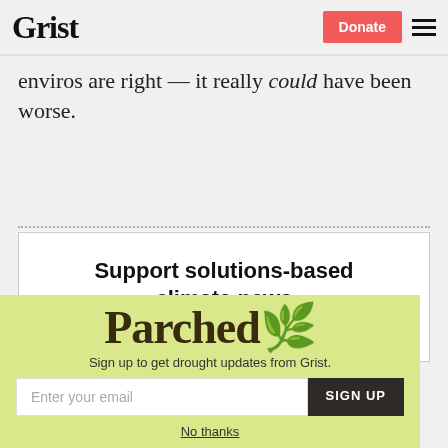Grist | Donate
enviros are right — it really could have been worse.
Support solutions-based climate news
[Figure (illustration): Parched newsletter popup with logo, email signup field, and 'No thanks' link on a yellow-green background]
Sign up to get drought updates from Grist.
No thanks